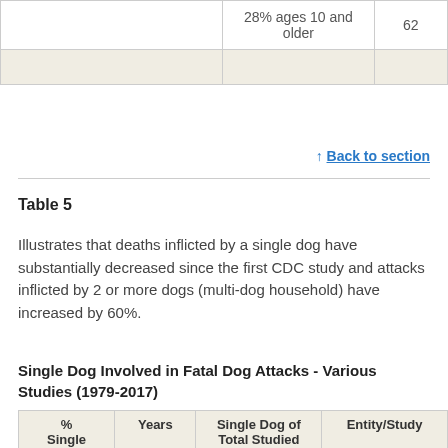|  |  |  |
| --- | --- | --- |
|  | 28% ages 10 and older | 62 |
|  |  |  |
↑ Back to section
Table 5
Illustrates that deaths inflicted by a single dog have substantially decreased since the first CDC study and attacks inflicted by 2 or more dogs (multi-dog household) have increased by 60%.
Single Dog Involved in Fatal Dog Attacks - Various Studies (1979-2017)
| % Single Dog | Years | Single Dog of Total Studied | Entity/Study |
| --- | --- | --- | --- |